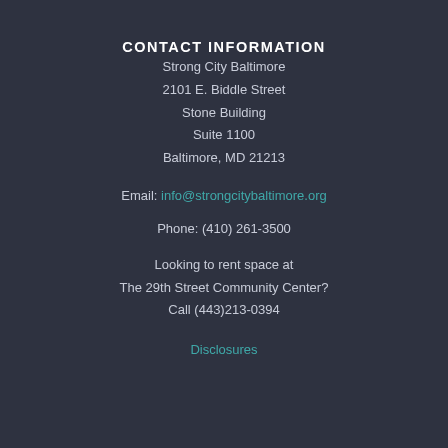CONTACT INFORMATION
Strong City Baltimore
2101 E. Biddle Street
Stone Building
Suite 1100
Baltimore, MD 21213
Email: info@strongcitybaltimore.org
Phone: (410) 261-3500
Looking to rent space at
The 29th Street Community Center?
Call (443)213-0394
Disclosures